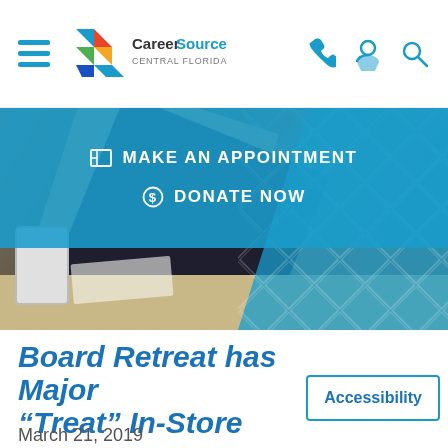CareerSource Central Florida
MAKE AN APPOINTMENT
DONATE NOW
[Figure (photo): Overhead/top-down photo of a person in a black shirt working at a desk with a phone and papers visible. Right side has a blue diagonal overlay with diamond pattern.]
Board Retreat has Major "Treat" In-Store
March 21, 2019